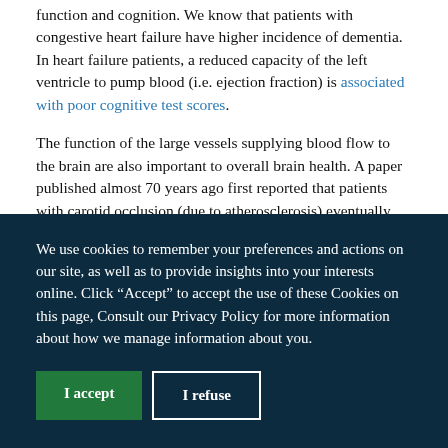function and cognition. We know that patients with congestive heart failure have higher incidence of dementia. In heart failure patients, a reduced capacity of the left ventricle to pump blood (i.e. ejection fraction) is associated with poor cognitive test scores.
The function of the large vessels supplying blood flow to the brain are also important to overall brain health. A paper published almost 70 years ago first reported that patients with carotid occlusion (due to atherosclerosis) eventually progressed to dementia. This early case study was the first to suggest that mild hypoperfusion of the brain...
We use cookies to remember your preferences and actions on our site, as well as to provide insights into your interests online. Click “Accept” to accept the use of these Cookies on this page, Consult our Privacy Policy for more information about how we manage information about you.